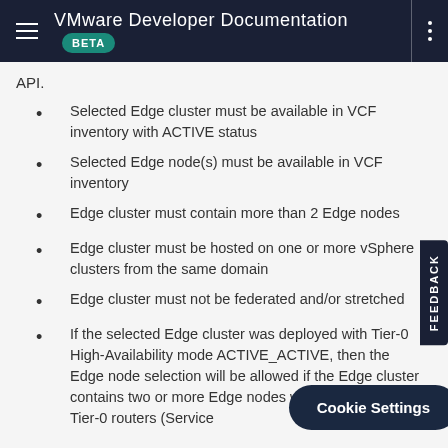VMware Developer Documentation BETA
API.
Selected Edge cluster must be available in VCF inventory with ACTIVE status
Selected Edge node(s) must be available in VCF inventory
Edge cluster must contain more than 2 Edge nodes
Edge cluster must be hosted on one or more vSphere clusters from the same domain
Edge cluster must not be federated and/or stretched
If the selected Edge cluster was deployed with Tier-0 High-Availability mode ACTIVE_ACTIVE, then the Edge node selection will be allowed if the Edge cluster contains two or more Edge nodes with two or more Tier-0 routers (Service...